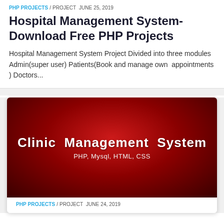PHP PROJECTS / PROJECT  JUNE 25, 2019
Hospital Management System-Download Free PHP Projects
Hospital Management System Project Divided into three modules Admin(super user) Patients(Book and manage own appointments ) Doctors...
[Figure (illustration): Red gradient banner image with white text reading 'Clinic Management System' and subtitle 'PHP, Mysql, HTML, CSS']
PHP PROJECTS / PROJECT  JUNE 24, 2019